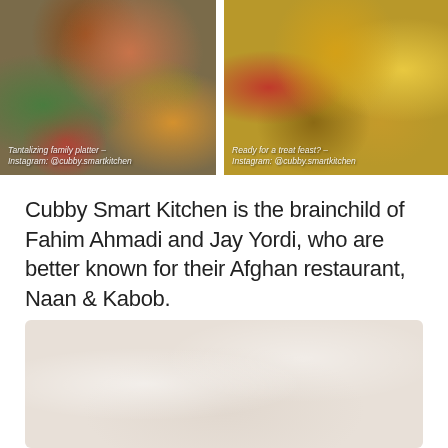[Figure (photo): Food photo showing a tantalizing family platter with grilled vegetables, kabobs, salad, and various Afghan dishes viewed from above. Caption reads: Tantalizing family platter – Instagram: @cubby.smartkitchen]
[Figure (photo): Food photo showing burgers, fries, onion rings, and various treat foods in takeout containers. Caption reads: Ready for a treat feast? – Instagram: @cubby.smartkitchen]
Cubby Smart Kitchen is the brainchild of Fahim Ahmadi and Jay Yordi, who are better known for their Afghan restaurant, Naan & Kabob.
[Figure (photo): Partially visible faded/washed out photo of food dishes from above, very light and white-toned.]